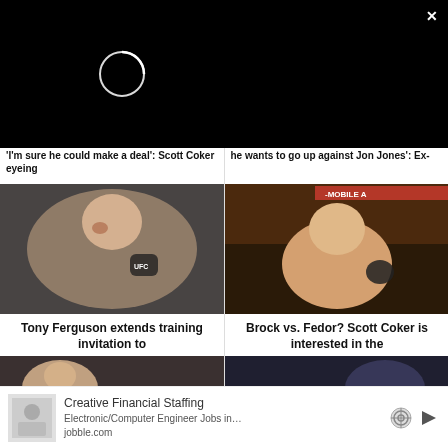[Figure (screenshot): Black video player area with loading spinner ring and close button (×)]
'I'm sure he could make a deal': Scott Coker eyeing
he wants to go up against Jon Jones': Ex-
[Figure (photo): Tony Ferguson MMA fighter with blood on face, UFC gloves, celebrating after fight]
[Figure (photo): Brock Lesnar shirtless in arena with T-Mobile Arena signage, fists raised]
Tony Ferguson extends training invitation to
Brock vs. Fedor? Scott Coker is interested in the
[Figure (photo): Brock Lesnar headshot partial view]
[Figure (photo): Event/fight scene partial view]
Creative Financial Staffing Electronic/Computer Engineer Jobs in… jobble.com